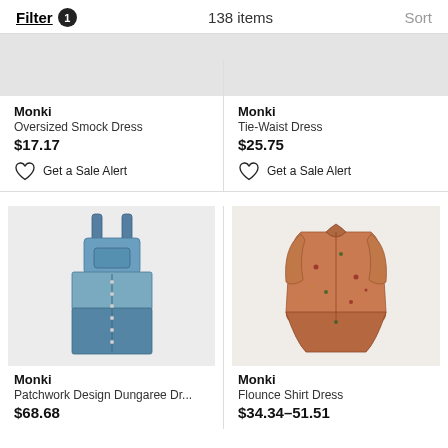Filter 1   138 items   Sort
Monki
Oversized Smock Dress
$17.17
Get a Sale Alert
Monki
Tie-Waist Dress
$25.75
Get a Sale Alert
[Figure (photo): Monki denim patchwork dungaree/pinafore dress on white background]
Monki
Patchwork Design Dungaree Dr...
$68.68
[Figure (photo): Monki floral flounce shirt dress on light background]
Monki
Flounce Shirt Dress
$34.34–51.51